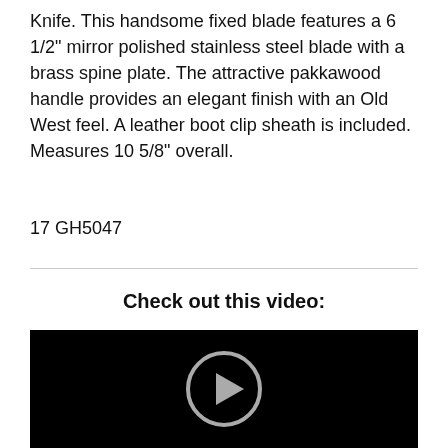Knife. This handsome fixed blade features a 6 1/2" mirror polished stainless steel blade with a brass spine plate. The attractive pakkawood handle provides an elegant finish with an Old West feel. A leather boot clip sheath is included. Measures 10 5/8" overall.
17 GH5047
Check out this video:
[Figure (other): Black video thumbnail with a circular play button in the center]